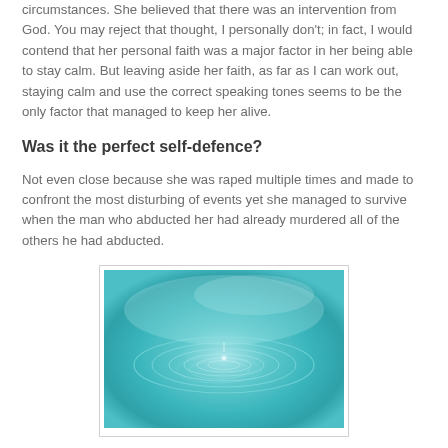circumstances. She believed that there was an intervention from God. You may reject that thought, I personally don't; in fact, I would contend that her personal faith was a major factor in her being able to stay calm. But leaving aside her faith, as far as I can work out, staying calm and use the correct speaking tones seems to be the only factor that managed to keep her alive.
Was it the perfect self-defence?
Not even close because she was raped multiple times and made to confront the most disturbing of events yet she managed to survive when the man who abducted her had already murdered all of the others he had abducted.
[Figure (photo): A photo of water ripples in a teal/turquoise body of water, showing concentric circular ripples emanating from a central point, likely a water droplet impact.]